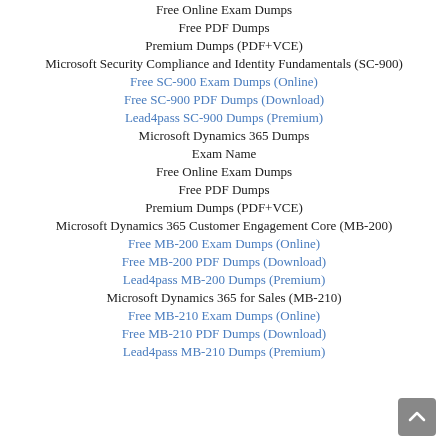Free Online Exam Dumps
Free PDF Dumps
Premium Dumps (PDF+VCE)
Microsoft Security Compliance and Identity Fundamentals (SC-900)
Free SC-900 Exam Dumps (Online)
Free SC-900 PDF Dumps (Download)
Lead4pass SC-900 Dumps (Premium)
Microsoft Dynamics 365 Dumps
Exam Name
Free Online Exam Dumps
Free PDF Dumps
Premium Dumps (PDF+VCE)
Microsoft Dynamics 365 Customer Engagement Core (MB-200)
Free MB-200 Exam Dumps (Online)
Free MB-200 PDF Dumps (Download)
Lead4pass MB-200 Dumps (Premium)
Microsoft Dynamics 365 for Sales (MB-210)
Free MB-210 Exam Dumps (Online)
Free MB-210 PDF Dumps (Download)
Lead4pass MB-210 Dumps (Premium)